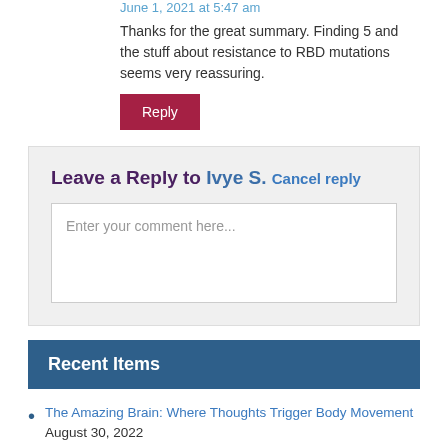June 1, 2021 at 5:47 am
Thanks for the great summary. Finding 5 and the stuff about resistance to RBD mutations seems very reassuring.
Reply
Leave a Reply to Ivye S. Cancel reply
Enter your comment here...
Recent Items
The Amazing Brain: Where Thoughts Trigger Body Movement August 30, 2022